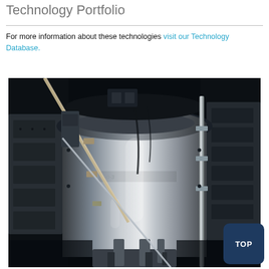Technology Portfolio
For more information about these technologies visit our Technology Database.
[Figure (photo): Photograph of aerospace or engineering test equipment — a metallic cylindrical structure mounted vertically in a test facility, with support struts, cables, and rods visible. The background is dark/black, indicating a controlled test environment.]
TOP